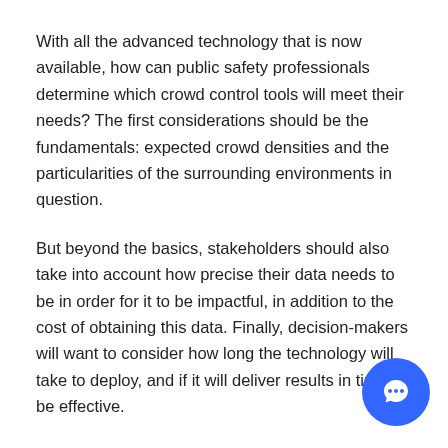With all the advanced technology that is now available, how can public safety professionals determine which crowd control tools will meet their needs? The first considerations should be the fundamentals: expected crowd densities and the particularities of the surrounding environments in question.
But beyond the basics, stakeholders should also take into account how precise their data needs to be in order for it to be impactful, in addition to the cost of obtaining this data. Finally, decision-makers will want to consider how long the technology will take to deploy, and if it will deliver results in time to be effective.
Generally, an efficient crowd management solution will bring together various data streams that offer both a wide area view of the location as well as a detailed